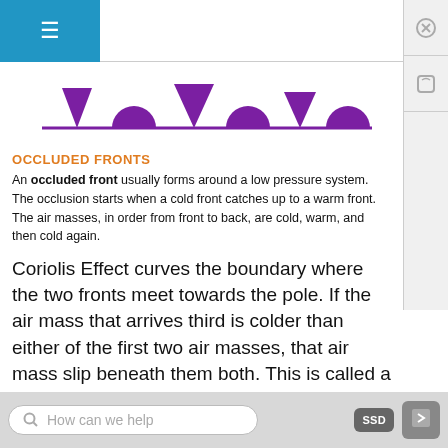[Figure (illustration): Purple occluded front weather map symbol: alternating filled triangles and filled semicircles on a horizontal line, all in purple/violet color]
OCCLUDED FRONTS
An occluded front usually forms around a low pressure system. The occlusion starts when a cold front catches up to a warm front. The air masses, in order from front to back, are cold, warm, and then cold again.
Coriolis Effect curves the boundary where the two fronts meet towards the pole. If the air mass that arrives third is colder than either of the first two air masses, that air mass slip beneath them both. This is called a cold occlusion. If the air mass that arrives third is warm, that air mass rides over the other air mass. This is called a warm occlusion.